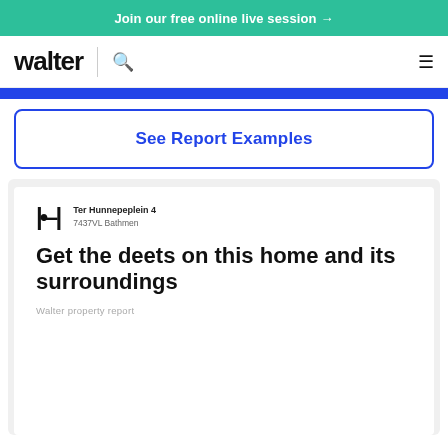Join our free online live session →
[Figure (logo): Walter logo with search icon and hamburger menu navigation bar]
[Figure (other): Blue progress/step indicator bar]
See Report Examples
[Figure (screenshot): Walter property report preview card showing address 'Ter Hunnepeplein 4, 7437VL Bathmen' with title 'Get the deets on this home and its surroundings' and subtitle 'Walter property report']